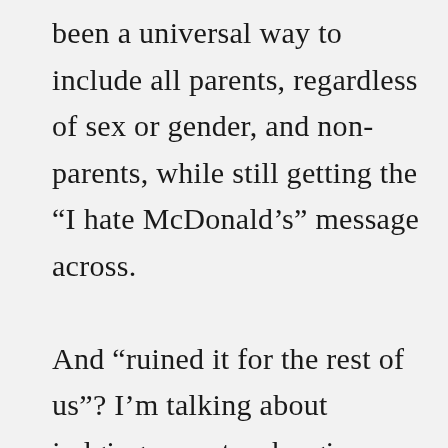been a universal way to include all parents, regardless of sex or gender, and non-parents, while still getting the “I hate McDonald’s” message across.

And “ruined it for the rest of us”? I’m talking about judging parents who give their children fast food.